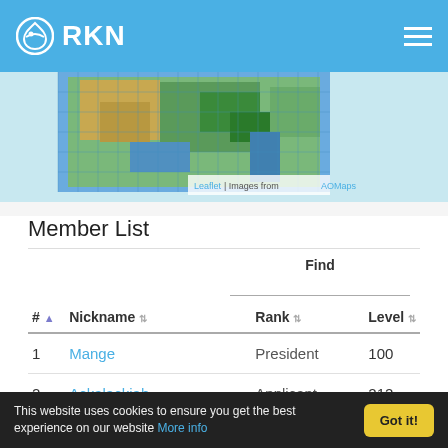RKN
[Figure (map): Game map screenshot showing terrain with water, land, and grid overlay. Attribution: Leaflet | Images from AOMaps]
Leaflet | Images from AOMaps
Member List
| # | Nickname | Rank | Level |
| --- | --- | --- | --- |
| 1 | Mange | President | 100 |
| 2 | Ackalackiah | Applicant | 212 |
This website uses cookies to ensure you get the best experience on our website More info  Got it!